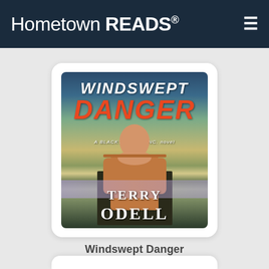Hometown READS®
[Figure (illustration): Book cover for 'Windswept Danger' by Terry Odell. A Blackthorne, Inc. novel. Shows a shirtless man with arms crossed against a scenic outdoor background with trees, rocks, and wildflowers. Title 'WINDSWEPT DANGER' in white and orange/red italic text at top. Author name 'TERRY ODELL' in white serif letters at bottom.]
Windswept Danger